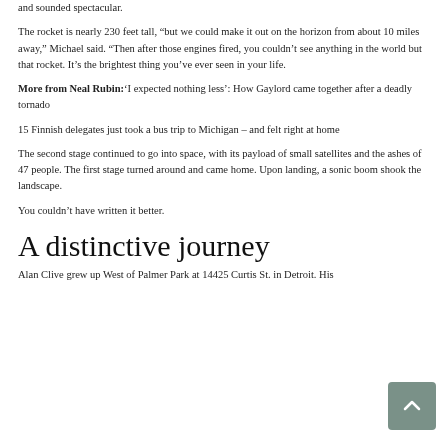and sounded spectacular.
The rocket is nearly 230 feet tall, “but we could make it out on the horizon from about 10 miles away,” Michael said. “Then after those engines fired, you couldn’t see anything in the world but that rocket. It’s the brightest thing you’ve ever seen in your life.
More from Neal Rubin: ‘I expected nothing less’: How Gaylord came together after a deadly tornado
15 Finnish delegates just took a bus trip to Michigan – and felt right at home
The second stage continued to go into space, with its payload of small satellites and the ashes of 47 people. The first stage turned around and came home. Upon landing, a sonic boom shook the landscape.
You couldn’t have written it better.
A distinctive journey
Alan Clive grew up West of Palmer Park at 14425 Curtis St. in Detroit. His